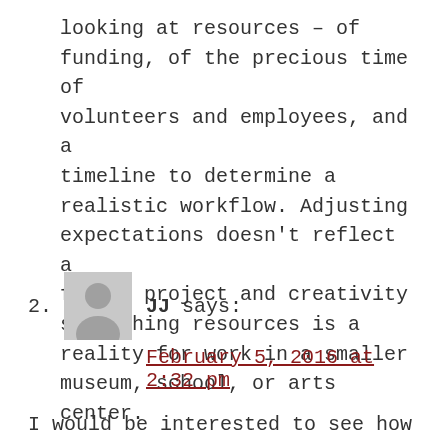looking at resources – of funding, of the precious time of volunteers and employees, and a timeline to determine a realistic workflow. Adjusting expectations doesn't reflect a failed project and creativity stretching resources is a reality for work in a smaller museum, school, or arts center.
2. JJ says: February 5, 2016 at 2:32 pm I would be interested to see how